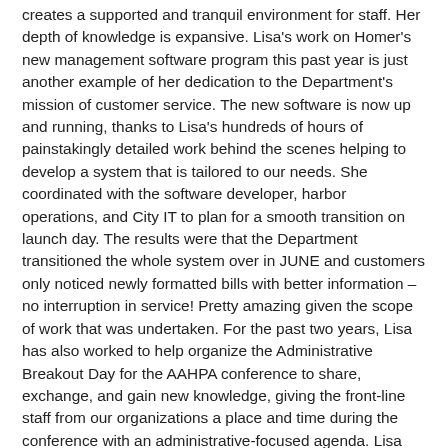creates a supported and tranquil environment for staff. Her depth of knowledge is expansive. Lisa's work on Homer's new management software program this past year is just another example of her dedication to the Department's mission of customer service. The new software is now up and running, thanks to Lisa's hundreds of hours of painstakingly detailed work behind the scenes helping to develop a system that is tailored to our needs. She coordinated with the software developer, harbor operations, and City IT to plan for a smooth transition on launch day. The results were that the Department transitioned the whole system over in JUNE and customers only noticed newly formatted bills with better information – no interruption in service! Pretty amazing given the scope of work that was undertaken. For the past two years, Lisa has also worked to help organize the Administrative Breakout Day for the AAHPA conference to share, exchange, and gain new knowledge, giving the front-line staff from our organizations a place and time during the conference with an administrative-focused agenda. Lisa Ellington has truly established herself as an exceptional member of the department and is genuinely deserving of being recognized by AAHPA members as Homer Harbor Employee of the Year.
Administrative Assistant Angel LaDuke is hereby named the Alaska Association of Harbormasters and Port Administrators employee of the year